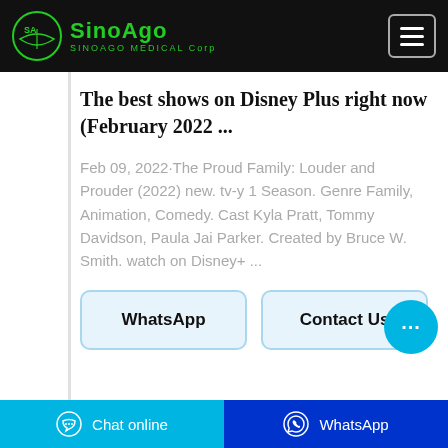SinoAgo SINOAGO MEDICAL Corp
The best shows on Disney Plus right now (February 2022 ...
Feb 09, 2022·The Proud Family: Louder and Prouder (2022) new. tv-y 1 Season. Genre Family, Animation, Comedy. Cast Kyla Pratt, Tommy Davidson, Paula Jai Parker. Created by Bruce W. Smith. watch on Disney+ ...
WhatsApp
Contact Us
Chat online  WhatsApp